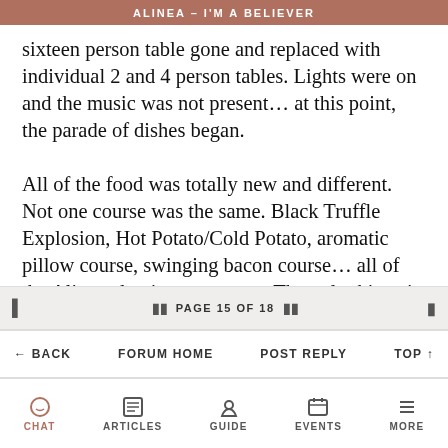ALINEA – I'M A BELIEVER
sixteen person table gone and replaced with individual 2 and 4 person tables. Lights were on and the music was not present… at this point, the parade of dishes began.

All of the food was totally new and different. Not one course was the same. Black Truffle Explosion, Hot Potato/Cold Potato, aromatic pillow course, swinging bacon course… all of the Alinea classics were gone. The only things in theory that remain are the helium balloon course, but it's a different flavor. An iteration of table side dessert remains, but gone is the tablecloth and the flavors are totally reinvented
PAGE 15 OF 18
← BACK   FORUM HOME   POST REPLY   TOP ↑
CHAT   ARTICLES   GUIDE   EVENTS   MORE